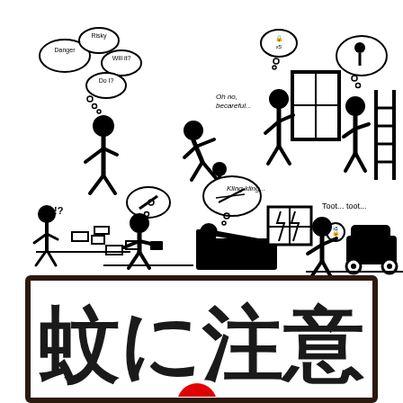[Figure (illustration): Eight stick figure pictograms illustrating various safety/risk scenarios: person thinking 'Danger', 'Risky', 'Will it?', 'Do I?'; person falling with 'Oh no, be careful...'; person opening a locked door; person thinking about a lock near a ladder; person walking past broken ground with '!?'; person walking with briefcase near broken ground; person sleeping/dreaming 'Kling Kling...'; person near a car with 'Toot... toot...']
[Figure (infographic): Japanese warning sign with bold black text on white background in a thick dark brown/black border reading '蚊に注意' (Beware of mosquitoes) with a red mosquito icon partially visible at the bottom]